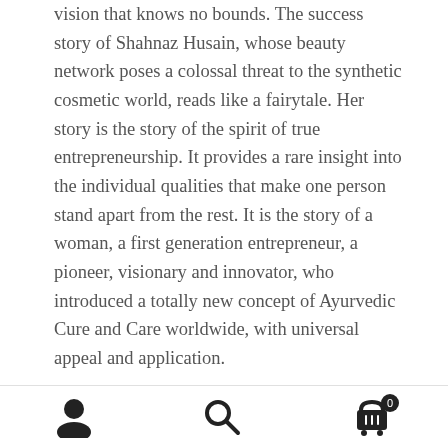vision that knows no bounds. The success story of Shahnaz Husain, whose beauty network poses a colossal threat to the synthetic cosmetic world, reads like a fairytale. Her story is the story of the spirit of true entrepreneurship. It provides a rare insight into the individual qualities that make one person stand apart from the rest. It is the story of a woman, a first generation entrepreneur, a pioneer, visionary and innovator, who introduced a totally new concept of Ayurvedic Cure and Care worldwide, with universal appeal and application.
Shahnaz Husain, the pioneer of organic beauty care, has achieved unprecedented international acclaim for her practical application of Ayurveda, the ancient Indian system of herbal healing. Just when there was a worldwide
[Figure (other): Bottom navigation bar with three icons: user/profile icon, search icon, and shopping cart icon with badge showing 0]